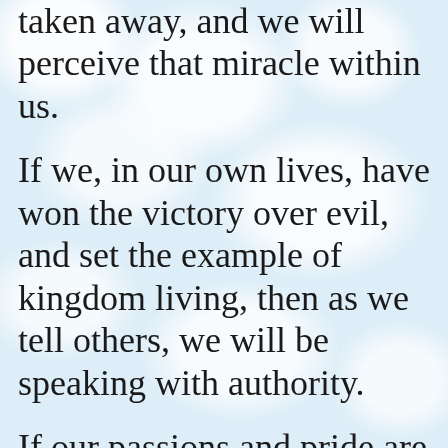taken away, and we will perceive that miracle within us.
If we, in our own lives, have won the victory over evil, and set the example of kingdom living, then as we tell others, we will be speaking with authority.
If our passions and pride are evident in our lives, we have no real authority. Some other losers may follow along and boost our